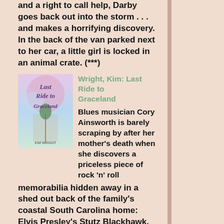and a right to call help, Darby goes back out into the storm . . . and makes a horrifying discovery. In the back of the van parked next to her car, a little girl is locked in an animal crate. (***)
Wright, Kim: Last Ride to Graceland
Blues musician Cory Ainsworth is barely scraping by after her mother's death when she discovers a priceless piece of rock 'n' roll memorabilia hidden away in a shed out back of the family's coastal South Carolina home: Elvis Presley's Stutz Blackhawk, its interior a time capsule of the singer's last day on earth. (***)
Haines, Carolyn: The Book of Beloved (Pluto's Snitch 1)
As a young woman